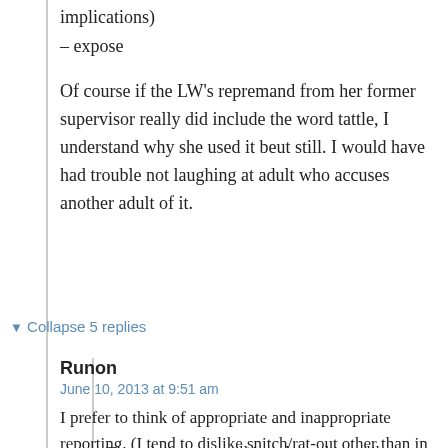implications)
– expose
Of course if the LW's repremand from her former supervisor really did include the word tattle, I understand why she used it beut still. I would have had trouble not laughing at adult who accuses another adult of it.
▼ Collapse 5 replies
Runon
June 10, 2013 at 9:51 am
I prefer to think of appropriate and inappropriate reporting. (I tend to dislike snitch/rat-out other than in mafia/prison movies, and see whistle blowing as significant organizational reporting.)
Though if we are talking about things like someone going to the coffee machine one to many times or Bobby